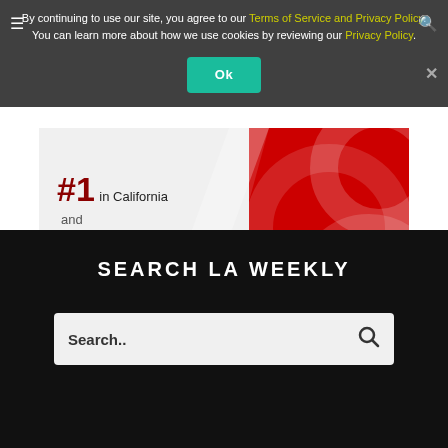By continuing to use our site, you agree to our Terms of Service and Privacy Policy. You can learn more about how we use cookies by reviewing our Privacy Policy.
[Figure (screenshot): Cedars-Sinai advertisement: #1 in California and #2 in the Nation, with LEARN MORE button and Cedars-Sinai logo on red background]
SEARCH LA WEEKLY
Search..